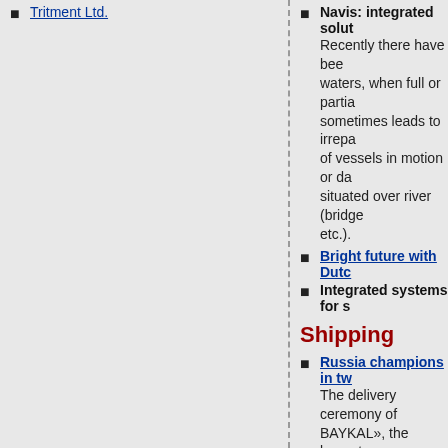Tritment Ltd.
Navis: integrated solut... Recently there have been waters, when full or partia... sometimes leads to irrepa... of vessels in motion or da... situated over river (bridge... etc.).
Bright future with Dutch...
Integrated systems for s...
Shipping
Russia champions in tw... The delivery ceremony of BAYKAL», the largest one... Shipping Company (FES... (Germany) at the end of J... the container ship «FESC Eastern Shipping Compa... August. The delivery of th... scheduled for 14 Septem...
The Saimaa channel: po... The Saimaa Channel flow... connects Lake Saimaa to... half century the Channel... facility, but a symbol of th... economy - and vice versa...
Will Russia keep the sta...
Ports